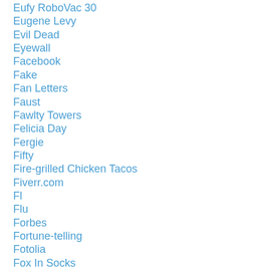Eufy RoboVac 30
Eugene Levy
Evil Dead
Eyewall
Facebook
Fake
Fan Letters
Faust
Fawlty Towers
Felicia Day
Fergie
Fifty
Fire-grilled Chicken Tacos
Fiverr.com
Fl
Flu
Forbes
Fortune-telling
Fotolia
Fox In Socks
Francine